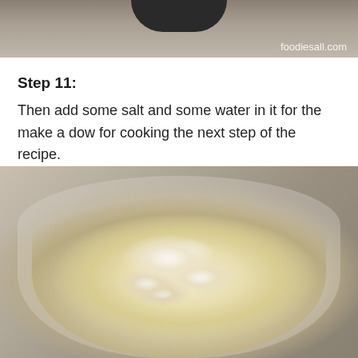[Figure (photo): Top portion of a food recipe photo showing a dark circular pan or plate, partially cropped, with a watermark 'foodiesall.com' in the lower right corner. Background appears to be a textured surface.]
Step 11:
Then add some salt and some water in it for the make a dow for cooking the next step of the recipe.
[Figure (photo): Overhead photo of a round white/grey bowl or plate on a floral patterned surface, containing flour dough mixture with water and oil added, showing the early stages of dough making for a recipe.]